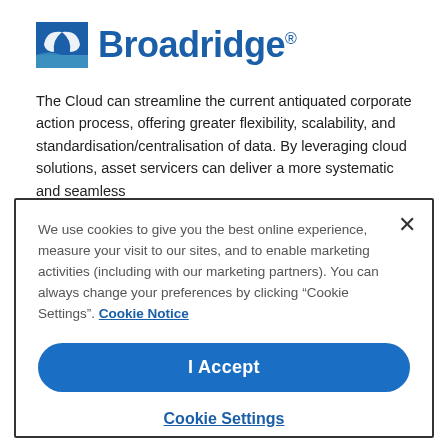[Figure (logo): Broadridge logo: blue square icon with white curved leaf/arrow shapes and the word 'Broadridge' in bold blue text with a registered trademark symbol]
The Cloud can streamline the current antiquated corporate action process, offering greater flexibility, scalability, and standardisation/centralisation of data. By leveraging cloud solutions, asset servicers can deliver a more systematic and seamless
We use cookies to give you the best online experience, measure your visit to our sites, and to enable marketing activities (including with our marketing partners). You can always change your preferences by clicking “Cookie Settings”. Cookie Notice
I Accept
Cookie Settings